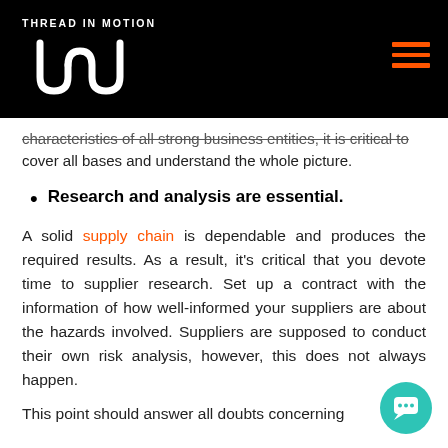THREAD IN MOTION
characteristics of all strong business entities, it is critical to cover all bases and understand the whole picture.
Research and analysis are essential.
A solid supply chain is dependable and produces the required results. As a result, it's critical that you devote time to supplier research. Set up a contract with the information of how well-informed your suppliers are about the hazards involved. Suppliers are supposed to conduct their own risk analysis, however, this does not always happen.
This point should answer all doubts concerning